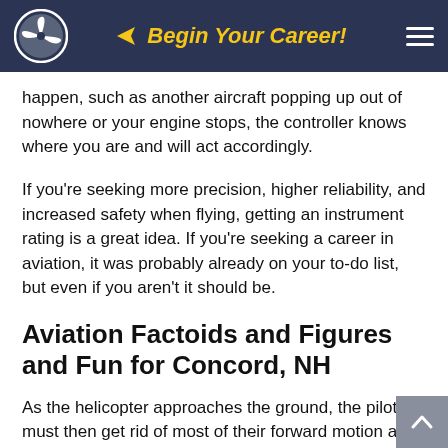Begin Your Career!
happen, such as another aircraft popping up out of nowhere or your engine stops, the controller knows where you are and will act accordingly.
If you're seeking more precision, higher reliability, and increased safety when flying, getting an instrument rating is a great idea. If you're seeking a career in aviation, it was probably already on your to-do list, but even if you aren't it should be.
Aviation Factoids and Figures and Fun for Concord, NH
As the helicopter approaches the ground, the pilot must then get rid of most of their forward motion and